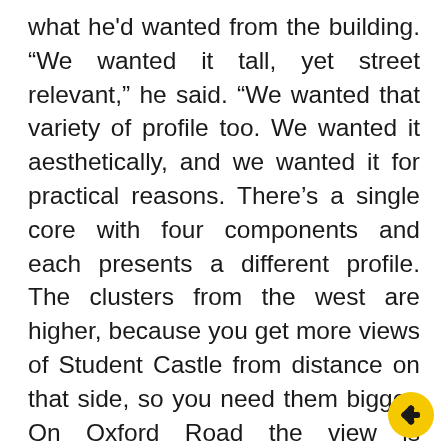what he'd wanted from the building. "We wanted it tall, yet street relevant," he said. "We wanted that variety of profile too. We wanted it aesthetically, and we wanted it for practical reasons. There's a single core with four components and each presents a different profile. The clusters from the west are higher, because you get more views of Student Castle from distance on that side, so you need them bigger. On Oxford Road the view is foreshortened and so the scale of the building is much more fragmented, giving it more variety and flow. We've tried to express that lower down as well. For instance the studio rooms look on to the railway, and are arranged in a saw-tooth so they look up and down the street rather than directly onto the railway." The building succeeds because Hodder has delivered what he aspired to, no
[Figure (logo): Yellow circular badge with a small black icon in the center, bottom-right corner of the page]